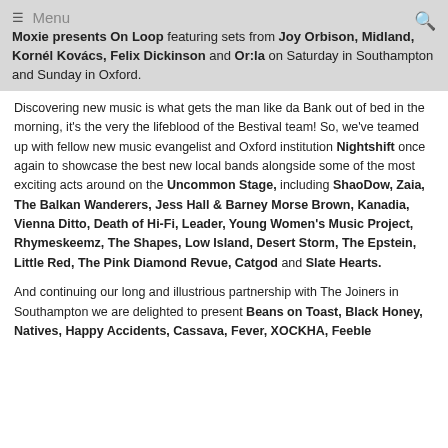Moxie presents On Loop featuring sets from Joy Orbison, Midland, Kornél Kovács, Felix Dickinson and Or:la on Saturday in Southampton and Sunday in Oxford.
Discovering new music is what gets the man like da Bank out of bed in the morning, it's the very the lifeblood of the Bestival team! So, we've teamed up with fellow new music evangelist and Oxford institution Nightshift once again to showcase the best new local bands alongside some of the most exciting acts around on the Uncommon Stage, including ShaoDow, Zaia, The Balkan Wanderers, Jess Hall & Barney Morse Brown, Kanadia, Vienna Ditto, Death of Hi-Fi, Leader, Young Women's Music Project, Rhymeskeemz, The Shapes, Low Island, Desert Storm, The Epstein, Little Red, The Pink Diamond Revue, Catgod and Slate Hearts.
And continuing our long and illustrious partnership with The Joiners in Southampton we are delighted to present Beans on Toast, Black Honey, Natives, Happy Accidents, Cassava, Fever, XOCKHA, Feeble